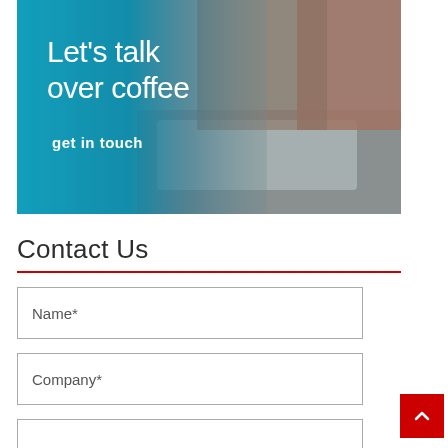[Figure (photo): Promotional banner image with teal/blue gradient background on the left showing text 'Let's talk over coffee' and 'get in touch', overlaid on a photo of two people working together on a laptop in a café setting, one holding a coffee cup.]
Contact Us
Name*
Company*